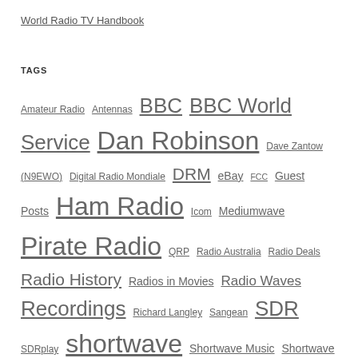World Radio TV Handbook
TAGS
Amateur Radio Antennas BBC BBC World Service Dan Robinson Dave Zantow (N9EWO) Digital Radio Mondiale DRM eBay FCC Guest Posts Ham Radio Icom Mediumwave Pirate Radio QRP Radio Australia Radio Deals Radio History Radios in Movies Radio Waves Recordings Richard Langley Sangean SDR SDRplay shortwave Shortwave Music Shortwave Pirates Shortwave Radio Shortwave Radio Recordings Software Defined Radio Sony Southgate ARC Tecsun Tecsun PL-880 Troy Riedel Videos Vintage Radio VOA Voice of America What's On Shortwave Why Shortwave Radio WRMI WWII